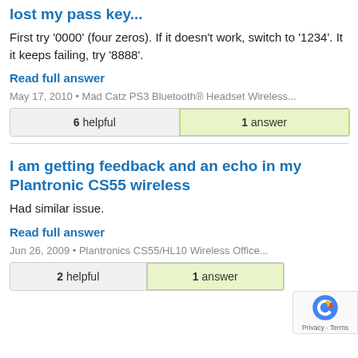lost my pass key...
First try '0000' (four zeros). If it doesn't work, switch to '1234'. It it keeps failing, try '8888'.
Read full answer
May 17, 2010 • Mad Catz PS3 Bluetooth® Headset Wireless...
| 6 helpful | 1 answer |
I am getting feedback and an echo in my Plantronic CS55 wireless
Had similar issue.
Read full answer
Jun 26, 2009 • Plantronics CS55/HL10 Wireless Office...
| 2 helpful | 1 answer |